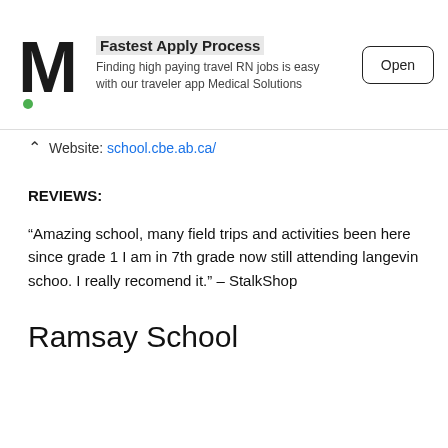[Figure (screenshot): Advertisement banner for Medical Solutions travel RN jobs app with logo, text 'Fastest Apply Process', subtitle 'Finding high paying travel RN jobs is easy with our traveler app Medical Solutions', and an 'Open' button.]
Website: school.cbe.ab.ca/
REVIEWS:
“Amazing school, many field trips and activities been here since grade 1 I am in 7th grade now still attending langevin schoo. I really recomend it.” – StalkShop
Ramsay School